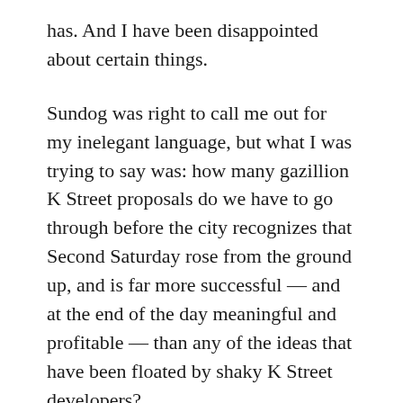has. And I have been disappointed about certain things.
Sundog was right to call me out for my inelegant language, but what I was trying to say was: how many gazillion K Street proposals do we have to go through before the city recognizes that Second Saturday rose from the ground up, and is far more successful — and at the end of the day meaningful and profitable — than any of the ideas that have been floated by shaky K Street developers?
I can cite a dozen midtown businesses that could have easily found a home on K Street, if they'd gotten a tenth of the subsidies that